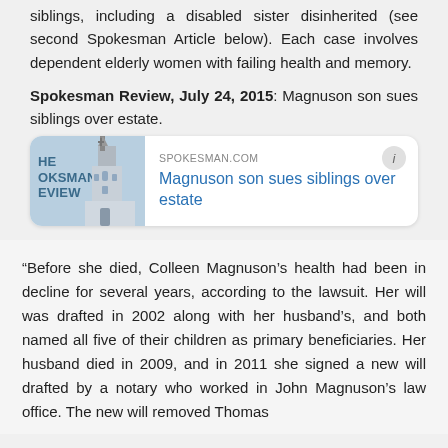siblings, including a disabled sister disinherited (see second Spokesman Article below). Each case involves dependent elderly women with failing health and memory.
Spokesman Review, July 24, 2015: Magnuson son sues siblings over estate.
[Figure (screenshot): Link card preview for spokesman.com article titled 'Magnuson son sues siblings over estate']
“Before she died, Colleen Magnuson’s health had been in decline for several years, according to the lawsuit. Her will was drafted in 2002 along with her husband’s, and both named all five of their children as primary beneficiaries. Her husband died in 2009, and in 2011 she signed a new will drafted by a notary who worked in John Magnuson’s law office. The new will removed Thomas